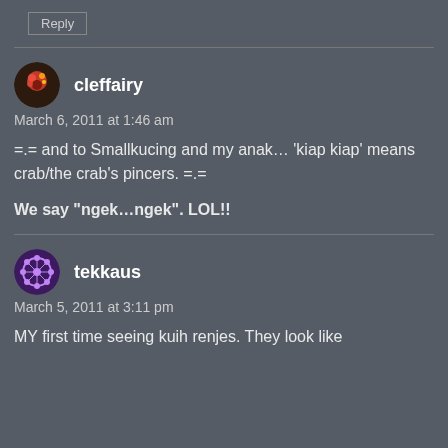Reply
cleffairy
March 6, 2011 at 1:46 am
=.= and to Smallkucing and my anak… 'kiap kiap' means crab/the crab's pincers. =.=
We say “ngek…ngek”. LOL!!
tekkaus
March 5, 2011 at 3:11 pm
MY first time seeing kuih renjes. They look like